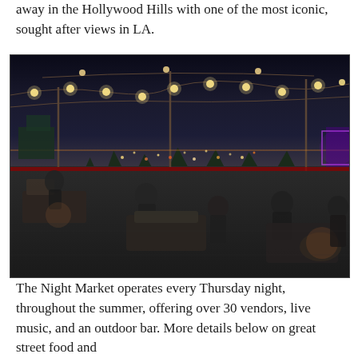away in the Hollywood Hills with one of the most iconic, sought after views in LA.
[Figure (photo): Nighttime rooftop terrace with string lights overhead, people seated on outdoor furniture, city lights and trees visible in the background against a dark sky.]
The Night Market operates every Thursday night, throughout the summer, offering over 30 vendors, live music, and an outdoor bar. More details below on great street food and